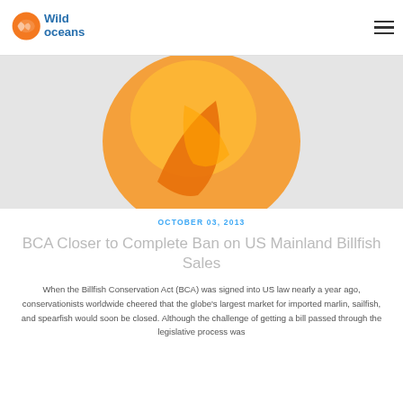Wild Oceans
[Figure (logo): Wild Oceans logo with orange fish icon and blue text]
[Figure (illustration): Large orange and yellow Wild Oceans fish/flame logo graphic on light gray background]
OCTOBER 03, 2013
BCA Closer to Complete Ban on US Mainland Billfish Sales
When the Billfish Conservation Act (BCA) was signed into US law nearly a year ago, conservationists worldwide cheered that the globe's largest market for imported marlin, sailfish, and spearfish would soon be closed. Although the challenge of getting a bill passed through the legislative process was